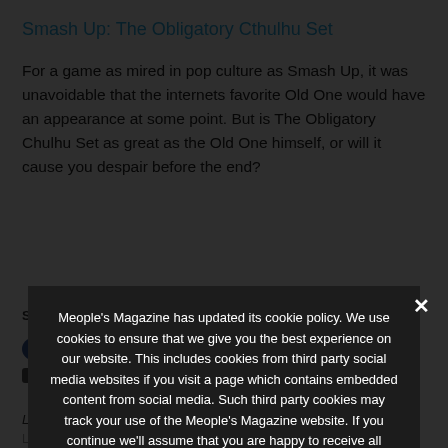Smash Up: The Obligatory Cthulhu Set
For a game as mired in pop culture as Smash Up, it was unavoidable that the internets favorite Old One would have an appearance at some point. But is The Obligatory Chulhu Set as great as the Old One himself, or will it cause you despair before the end?
Meople's Magazine has updated its cookie policy. We use cookies to ensure that we give you the best experience on our website. This includes cookies from third party social media websites if you visit a page which contains embedded content from social media. Such third party cookies may track your use of the Meople's Magazine website. If you continue we'll assume that you are happy to receive all cookies on the Meople's Magazine website.
❯ Privacy Preferences
I Agree